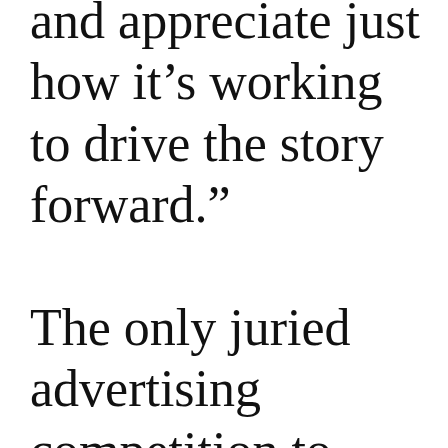and appreciate just how it’s working to drive the story forward.” The only juried advertising competition to focus on the unique